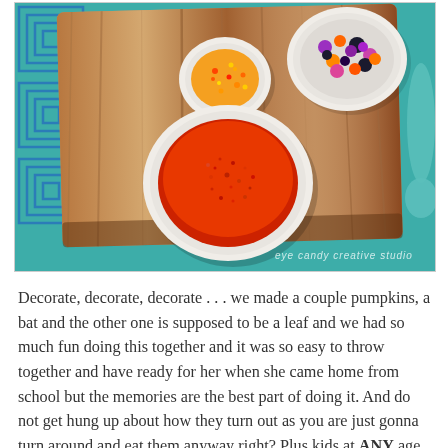[Figure (photo): Overhead view of colorful sprinkles in white bowls on a wooden cutting board against a teal background with blue geometric pattern. A large bowl of orange sprinkles, a small bowl of orange/yellow sprinkles, and a small bowl of purple/orange/black confetti sprinkles. Watermark reads 'eye candy creative studio'.]
Decorate, decorate, decorate . . . we made a couple pumpkins, a bat and the other one is supposed to be a leaf and we had so much fun doing this together and it was so easy to throw together and have ready for her when she came home from school but the memories are the best part of doing it. And do not get hung up about how they turn out as you are just gonna turn around and eat them anyway right? Plus kids at ANY age will